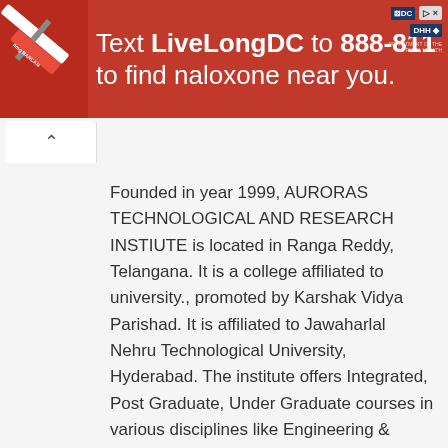[Figure (screenshot): Red advertisement banner: 'Text LiveLongDC to 888-811 to find naloxone near you.' with DC and DHH logos on right, syringe image on left.]
Founded in year 1999, AURORAS TECHNOLOGICAL AND RESEARCH INSTIUTE is located in Ranga Reddy, Telangana. It is a college affiliated to university., promoted by Karshak Vidya Parishad. It is affiliated to Jawaharlal Nehru Technological University, Hyderabad. The institute offers Integrated, Post Graduate, Under Graduate courses in various disciplines like Engineering & Technology, It & Computer, Management. It offers 24 courses across degrees like B.Tech M.Tech, M.E., , M.B.A., B.E. There is no hostel facility offered.